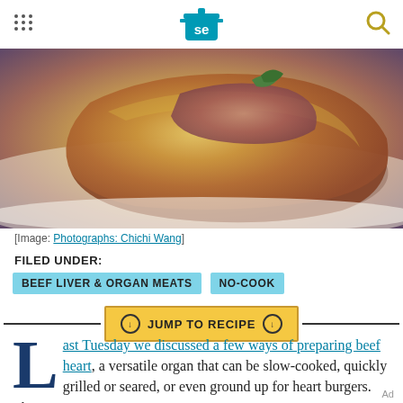Serious Eats (se logo) navigation header
[Figure (photo): Close-up photograph of toasted bread or crostini with beef heart preparation, golden-brown crust with reddish meat visible on top, on a white plate]
[Image: Photographs: Chichi Wang]
FILED UNDER:
BEEF LIVER & ORGAN MEATS   NO-COOK
⊙ JUMP TO RECIPE ⊙
Last Tuesday we discussed a few ways of preparing beef heart, a versatile organ that can be slow-cooked, quickly grilled or seared, or even ground up for heart burgers. There was